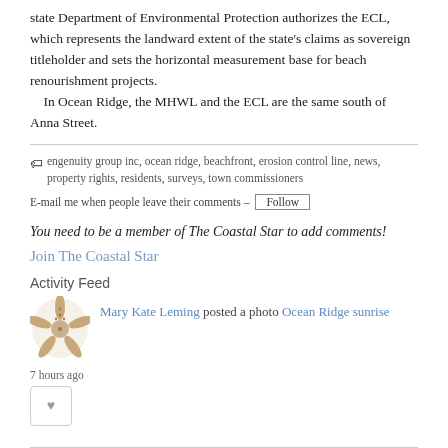state Department of Environmental Protection authorizes the ECL, which represents the landward extent of the state's claims as sovereign titleholder and sets the horizontal measurement base for beach renourishment projects.
    In Ocean Ridge, the MHWL and the ECL are the same south of Anna Street.
engenuity group inc, ocean ridge, beachfront, erosion control line, news, property rights, residents, surveys, town commissioners
E-mail me when people leave their comments – Follow
You need to be a member of The Coastal Star to add comments!
Join The Coastal Star
Activity Feed
Mary Kate Leming posted a photo Ocean Ridge sunrise
7 hours ago
[Figure (illustration): Starfish icon/photo used as user avatar]
[Figure (other): Like/heart button with heart icon in a rounded rectangle]